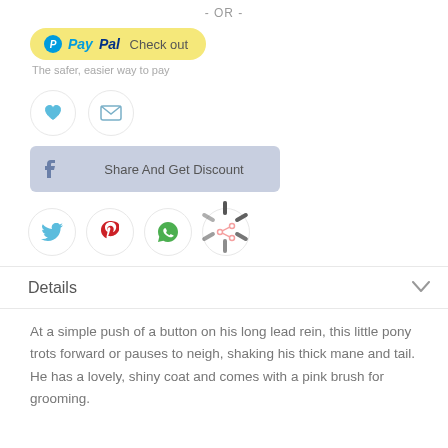- OR -
[Figure (screenshot): PayPal Check out button with yellow rounded rectangle, PayPal logo and text]
The safer, easier way to pay
[Figure (screenshot): Heart icon and envelope icon in circular buttons]
[Figure (screenshot): Facebook Share And Get Discount button in light blue]
[Figure (screenshot): Loading spinner overlay on the page]
[Figure (screenshot): Social share icons: Twitter, Pinterest, WhatsApp, generic share]
Details
At a simple push of a button on his long lead rein, this little pony trots forward or pauses to neigh, shaking his thick mane and tail. He has a lovely, shiny coat and comes with a pink brush for grooming.